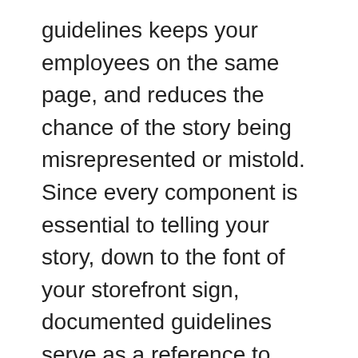guidelines keeps your employees on the same page, and reduces the chance of the story being misrepresented or mistold. Since every component is essential to telling your story, down to the font of your storefront sign, documented guidelines serve as a reference to which every aspect of your business should align.
“As a business owner, telling your story might come easily, but as you expand, staff must be trained to understand your brand too,” Rosen says.